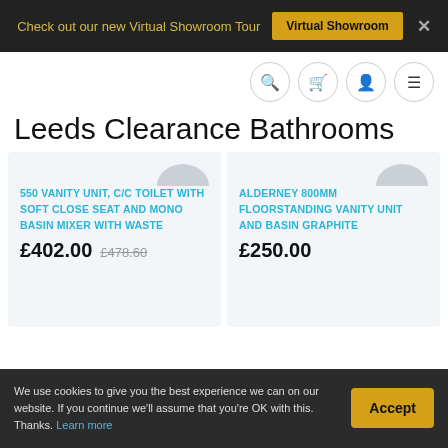Check out our new Virtual Showroom Tour   Virtual Showroom  ×
Leeds Clearance Bathrooms
550 VANITY UNIT, C/C TOILET WITH SOFT CLOSE SEAT AND MONO BASIN MIXER WITH WASTE
£402.00  £478.60
ALDERNEY 800MM FLOORSTANDING VANITY UNIT AND BASIN GRAPHITE
£250.00
We use cookies to give you the best experience we can on our website. If you continue we'll assume that you're OK with this. Thanks. Learn more